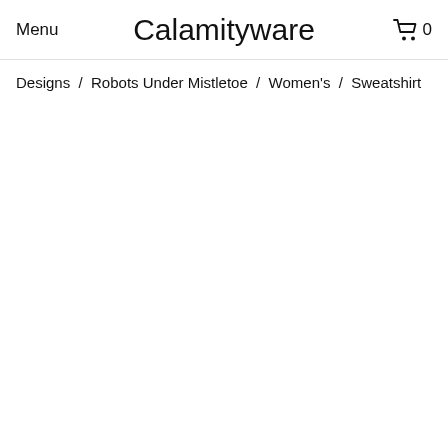Menu  Calamityware  0
Designs / Robots Under Mistletoe / Women's / Sweatshirt